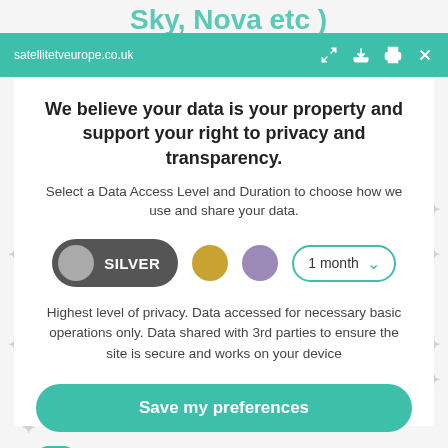Sky, Nova etc )
satellitetveurope.co.uk
We believe your data is your property and support your right to privacy and transparency.
Select a Data Access Level and Duration to choose how we use and share your data.
[Figure (infographic): Privacy level selector with SILVER pill toggle (active, dark grey), gold circle, purple circle, and a 1 month dropdown selector]
Highest level of privacy. Data accessed for necessary basic operations only. Data shared with 3rd parties to ensure the site is secure and works on your device
Save my preferences
Customize
Privacy policy